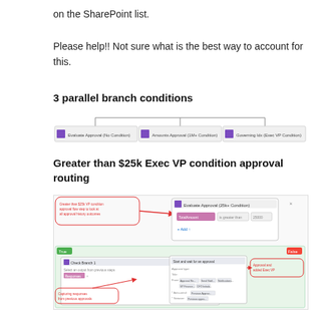on the SharePoint list.
Please help!! Not sure what is the best way to account for this.
3 parallel branch conditions
[Figure (screenshot): Screenshot showing 3 parallel branch condition blocks in a flow diagram, connected by horizontal lines at the top.]
Greater than $25k Exec VP condition approval routing
[Figure (screenshot): Screenshot of a Power Automate workflow showing 'Greater than $25k Exec VP condition approval routing' with dialog boxes and flow steps including approval routing logic. Red arrows and annotation callouts highlight key areas: one pointing to a condition setup dialog and another labeled 'Capturing responses from previous approvals'. An annotation reads 'Approval and added Exec VP'.]